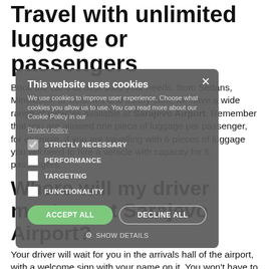Travel with unlimited luggage or passengers
Book the car that best suits your needs, from Sedans, Minibuses, to Coaches and luxury cars, we have a wide range of vehicles available at Sarajevo Airport. Remember that you are allowed one piece of luggage per passenger, for example, if you are travelling with 6 pieces of luggage you will need to hire a vehicle with capacity for 6 passengers.
[Figure (screenshot): Cookie consent overlay with title 'This website uses cookies', description text, checkboxes for STRICTLY NECESSARY, PERFORMANCE, TARGETING, FUNCTIONALITY, Accept All and Decline All buttons, and Show Details option.]
Where will my driver meet me at Sarajevo Airport?
Your driver will wait for you in the arrivals hall of the airport, with a welcome sign with your name on it. You won't have to wait in long taxi queues and you won't have to travel with other passengers, you will travel